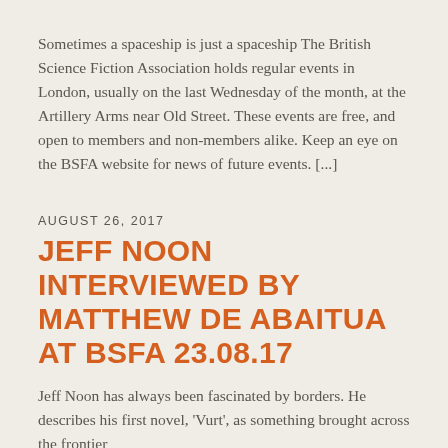Sometimes a spaceship is just a spaceship The British Science Fiction Association holds regular events in London, usually on the last Wednesday of the month, at the Artillery Arms near Old Street. These events are free, and open to members and non-members alike. Keep an eye on the BSFA website for news of future events. [...]
AUGUST 26, 2017
JEFF NOON INTERVIEWED BY MATTHEW DE ABAITUA AT BSFA 23.08.17
Jeff Noon has always been fascinated by borders. He describes his first novel, 'Vurt', as something brought across the frontier